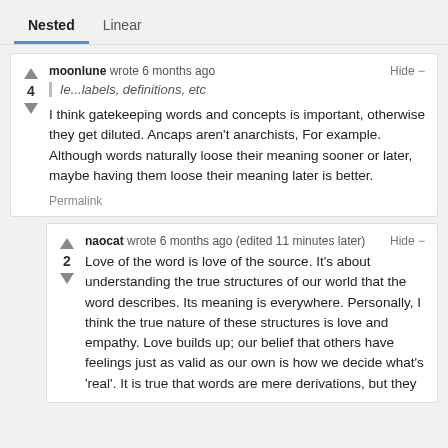Nested   Linear
moonlune wrote 6 months ago
Ie...labels, definitions, etc
I think gatekeeping words and concepts is important, otherwise they get diluted. Ancaps aren't anarchists, For example. Although words naturally loose their meaning sooner or later, maybe having them loose their meaning later is better.
Permalink
naocat wrote 6 months ago (edited 11 minutes later)
Love of the word is love of the source. It's about understanding the true structures of our world that the word describes. Its meaning is everywhere. Personally, I think the true nature of these structures is love and empathy. Love builds up; our belief that others have feelings just as valid as our own is how we decide what's 'real'. It is true that words are mere derivations, but they